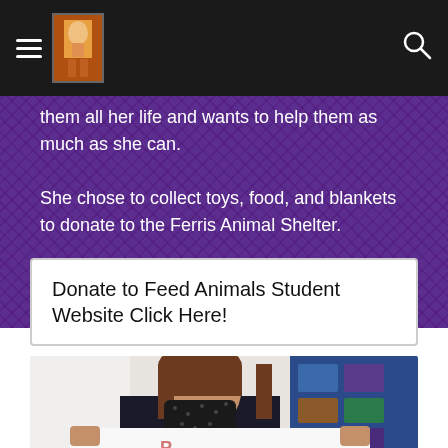Navigation bar with hamburger menu, logo image, and search icon
them all her life and wants to help them as much as she can.

She chose to collect toys, food, and blankets to donate to the Ferris Animal Shelter.
Donate to Feed Animals Student Website Click Here!
[Figure (photo): Student wearing a black floral face mask, holding a white sign with handwritten text, standing in front of a blue poster/bulletin board]